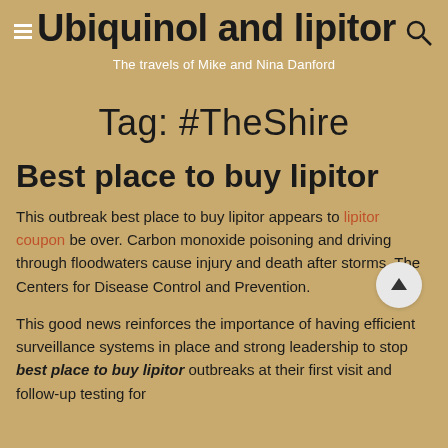Ubiquinol and lipitor
The travels of Mike and Nina Danford
Tag: #TheShire
Best place to buy lipitor
This outbreak best place to buy lipitor appears to lipitor coupon be over. Carbon monoxide poisoning and driving through floodwaters cause injury and death after storms. The Centers for Disease Control and Prevention.
This good news reinforces the importance of having efficient surveillance systems in place and strong leadership to stop best place to buy lipitor outbreaks at their first visit and follow-up testing for